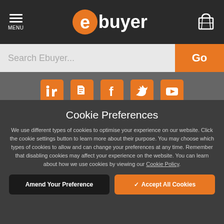[Figure (screenshot): Ebuyer website navigation header with menu icon, Ebuyer logo, and shopping cart icon on dark background]
[Figure (screenshot): Search bar with 'Search Ebuyer...' placeholder text and orange 'Go' button]
[Figure (screenshot): Row of orange social media icons for LinkedIn, Google+, Facebook, Twitter, and YouTube]
Cookie Preferences
We use different types of cookies to optimise your experience on our website. Click the cookie settings button to learn more about their purpose. You may choose which types of cookies to allow and can change your preferences at any time. Remember that disabling cookies may affect your experience on the website. You can learn about how we use cookies by viewing our Cookie Policy.